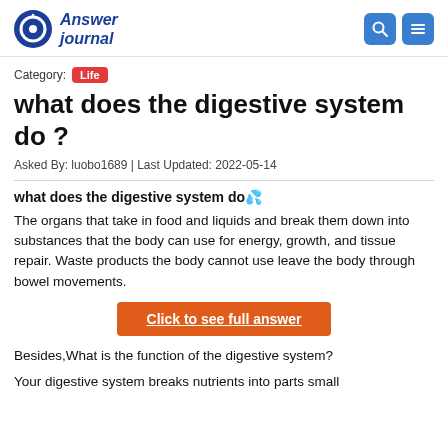Answer journal
Category: Life
what does the digestive system do ?
Asked By: luobo1689 | Last Updated: 2022-05-14
what does the digestive system do?
The organs that take in food and liquids and break them down into substances that the body can use for energy, growth, and tissue repair. Waste products the body cannot use leave the body through bowel movements.
Click to see full answer
Besides,What is the function of the digestive system?
Your digestive system breaks nutrients into parts small